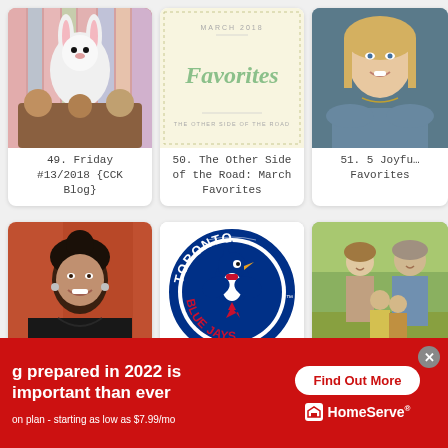[Figure (photo): Card 49: Easter bunny photo with children. Label: 49. Friday #13/2018 {CCK Blog}]
49. Friday #13/2018 {CCK Blog}
[Figure (photo): Card 50: 'Favorites' text on cream background with 'THE OTHER SIDE OF THE ROAD'. Label: 50. The Other Side of the Road: March Favorites]
50. The Other Side of the Road: March Favorites
[Figure (photo): Card 51: Portrait of smiling blonde woman. Label: 51. 5 Joyful Favorites]
51. 5 Joyful Favorites
[Figure (photo): Card 53: Portrait of dark-haired woman smiling in front of red door. Label: 53. Friday Favorites - Only]
53. Friday Favorites - Only
[Figure (logo): Card 54: Toronto Blue Jays logo — circular logo with blue jay bird and maple leaf. Label: 54. Toronto SAM]
54. Toronto SAM
[Figure (photo): Card 55: Family portrait outdoors with man, woman and children. Label: 55. This Happ... Life: Friday]
55. This Happ... Life: Friday
g prepared in 2022 is important than ever
on plan - starting as low as $7.99/mo
Find Out More
HomeServe